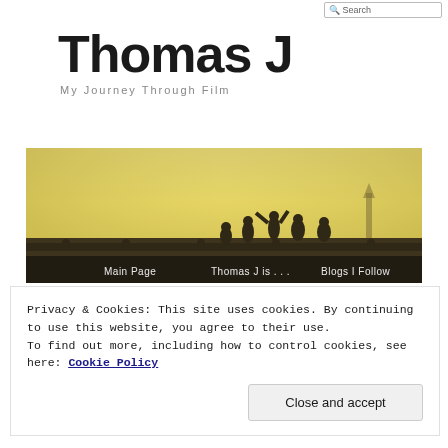Search
Thomas J
My Journey Through Film
[Figure (photo): Silhouette of people on a rooftop against a golden hazy sky with a distant tower/church spire. Navigation bar overlaid at bottom with links: Main Page, Thomas J is ..., Blogs I Follow]
Privacy & Cookies: This site uses cookies. By continuing to use this website, you agree to their use.
To find out more, including how to control cookies, see here: Cookie Policy
Close and accept